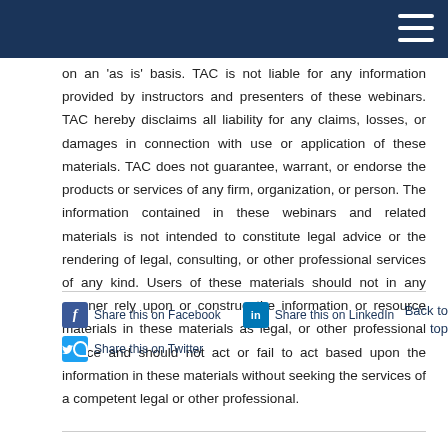on an ‘as is’ basis. TAC is not liable for any information provided by instructors and presenters of these webinars. TAC hereby disclaims all liability for any claims, losses, or damages in connection with use or application of these materials. TAC does not guarantee, warrant, or endorse the products or services of any firm, organization, or person. The information contained in these webinars and related materials is not intended to constitute legal advice or the rendering of legal, consulting, or other professional services of any kind. Users of these materials should not in any manner rely upon or construe the information or resource materials in these materials as legal, or other professional advice and should not act or fail to act based upon the information in these materials without seeking the services of a competent legal or other professional.
Share this on Facebook
Share this on LinkedIn
Share this on Twitter
Back to top